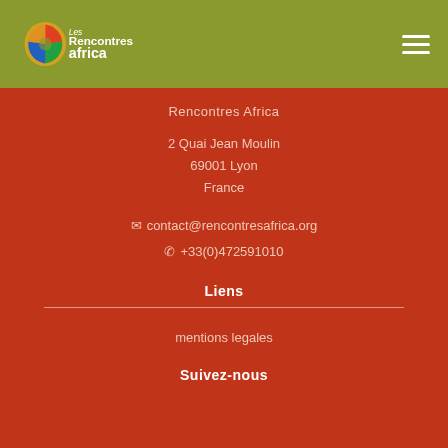[Figure (logo): Les Rencontres Africa logo with colorful Africa continent icon and text]
Rencontres Africa
2 Quai Jean Moulin
69001 Lyon
France
✉ contact@rencontresafrica.org
✆ +33(0)472591010
Liens
mentions legales
Suivez-nous